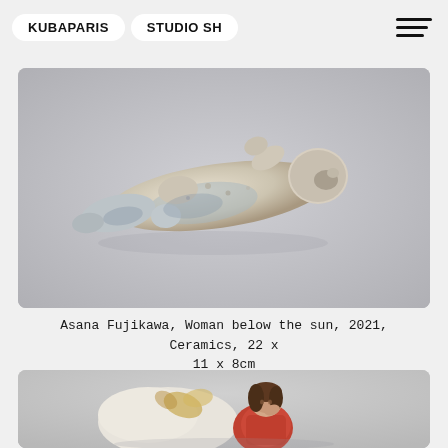KUBAPARIS   STUDIO SH
[Figure (photo): A small ceramic sculpture of a reclining human figure, lying on its back/side. The figure appears rough and textured with blue and beige tones, photographed against a light gray background.]
Asana Fujikawa, Woman below the sun, 2021, Ceramics, 22 x 11 x 8cm
[Figure (photo): A ceramic sculpture of a seated female figure with brown hair and a colorful red/orange dress, accompanied by what appears to be a white animal or organic form, photographed against a light gray background.]